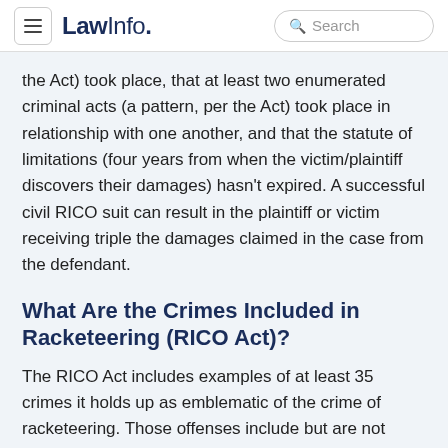LawInfo. Search
the Act) took place, that at least two enumerated criminal acts (a pattern, per the Act) took place in relationship with one another, and that the statute of limitations (four years from when the victim/plaintiff discovers their damages) hasn't expired. A successful civil RICO suit can result in the plaintiff or victim receiving triple the damages claimed in the case from the defendant.
What Are the Crimes Included in Racketeering (RICO Act)?
The RICO Act includes examples of at least 35 crimes it holds up as emblematic of the crime of racketeering. Those offenses include but are not limited to: forgery, kidnapping, murder, money laundering, obstruction of justice, tax evasion, human trafficking, running prostitution and gambling rings,